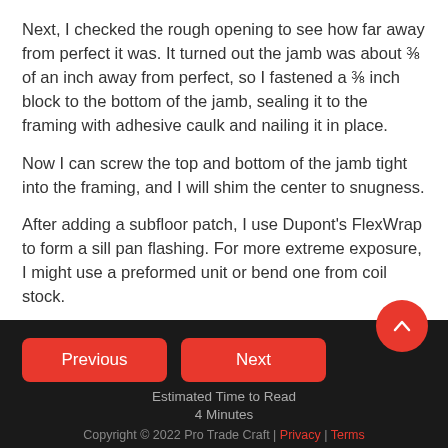Next, I checked the rough opening to see how far away from perfect it was. It turned out the jamb was about ⅜ of an inch away from perfect, so I fastened a ⅜ inch block to the bottom of the jamb, sealing it to the framing with adhesive caulk and nailing it in place.
Now I can screw the top and bottom of the jamb tight into the framing, and I will shim the center to snugness.
After adding a subfloor patch, I use Dupont's FlexWrap to form a sill pan flashing. For more extreme exposure, I might use a preformed unit or bend one from coil stock.
There are multiple release sheets on the wide
Previous  Next  Estimated Time to Read 4 Minutes  Copyright © 2022 Pro Trade Craft | Privacy | Terms